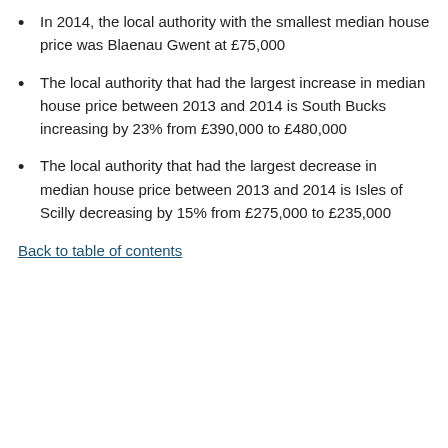In 2014, the local authority with the smallest median house price was Blaenau Gwent at £75,000
The local authority that had the largest increase in median house price between 2013 and 2014 is South Bucks increasing by 23% from £390,000 to £480,000
The local authority that had the largest decrease in median house price between 2013 and 2014 is Isles of Scilly decreasing by 15% from £275,000 to £235,000
Back to table of contents